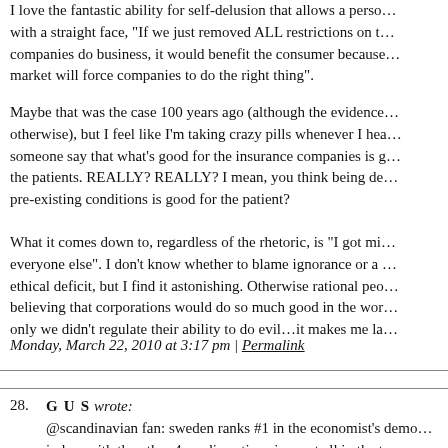I love the fantastic ability for self-delusion that allows a person to say, with a straight face, "If we just removed ALL restrictions on the way companies do business, it would benefit the consumer because the free market will force companies to do the right thing".
Maybe that was the case 100 years ago (although the evidence suggests otherwise), but I feel like I'm taking crazy pills whenever I hear someone say that what's good for the insurance companies is good for the patients. REALLY? REALLY? I mean, you think being denied for pre-existing conditions is good for the patient?
What it comes down to, regardless of the rhetoric, is "I got mine, screw everyone else". I don't know whether to blame ignorance or a serious ethical deficit, but I find it astonishing. Otherwise rational people believing that corporations would do so much good in the world if only we didn't regulate their ability to do evil…it makes me la
Monday, March 22, 2010 at 3:17 pm | Permalink
28. GUS wrote:
@scandinavian fan: sweden ranks #1 in the economist's democracy index, with the other 4 nordic nations in most all in the t...